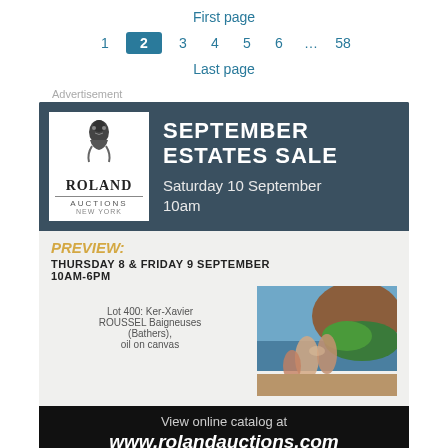First page
1  2  3  4  5  6  ...  58
Last page
Advertisement
[Figure (infographic): Roland Auctions advertisement for September Estates Sale, Saturday 10 September 10am. Preview: Thursday 8 & Friday 9 September 10AM-6PM. Lot 400: Ker-Xavier ROUSSEL Baigneuses (Bathers), oil on canvas. View online catalog at www.rolandauctions.com]